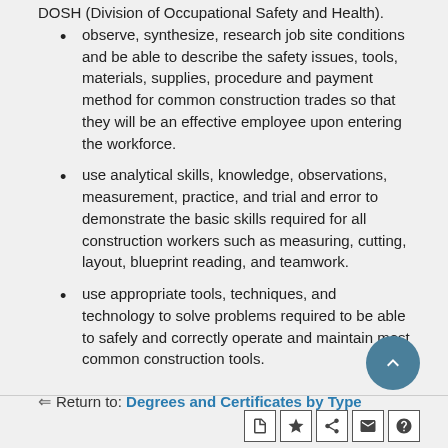DOSH (Division of Occupational Safety and Health).
observe, synthesize, research job site conditions and be able to describe the safety issues, tools, materials, supplies, procedure and payment method for common construction trades so that they will be an effective employee upon entering the workforce.
use analytical skills, knowledge, observations, measurement, practice, and trial and error to demonstrate the basic skills required for all construction workers such as measuring, cutting, layout, blueprint reading, and teamwork.
use appropriate tools, techniques, and technology to solve problems required to be able to safely and correctly operate and maintain most common construction tools.
Return to: Degrees and Certificates by Type